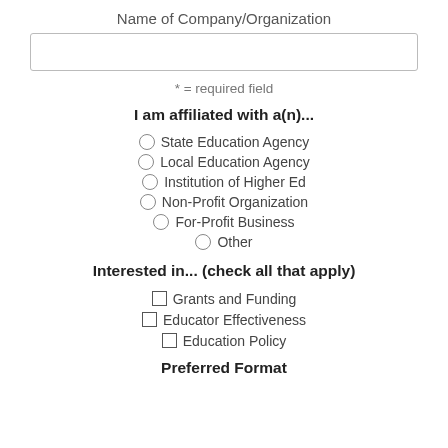Name of Company/Organization
[Figure (other): Text input field box for company/organization name]
* = required field
I am affiliated with a(n)...
State Education Agency
Local Education Agency
Institution of Higher Ed
Non-Profit Organization
For-Profit Business
Other
Interested in... (check all that apply)
Grants and Funding
Educator Effectiveness
Education Policy
Preferred Format